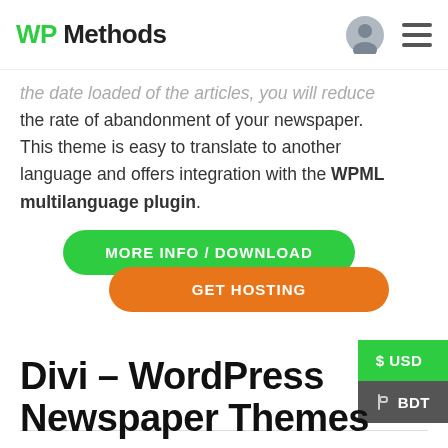WP Methods
the date loaded of the articles, you will reduce the rate of abandonment of your newspaper. This theme is easy to translate to another language and offers integration with the WPML multilanguage plugin.
[Figure (other): Green pill button labeled MORE INFO / DOWNLOAD and orange pill button labeled GET HOSTING]
[Figure (other): Currency selector sidebar with $ USD (green) and BDT (dark grey) options]
Divi – WordPress Newspaper Themes